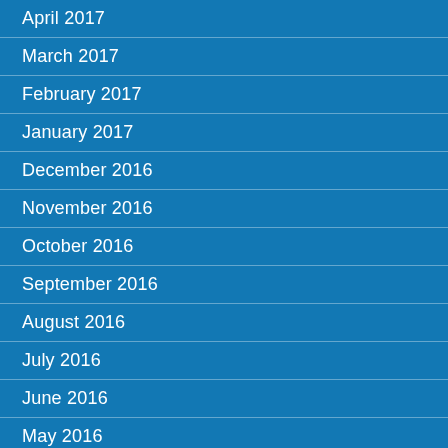April 2017
March 2017
February 2017
January 2017
December 2016
November 2016
October 2016
September 2016
August 2016
July 2016
June 2016
May 2016